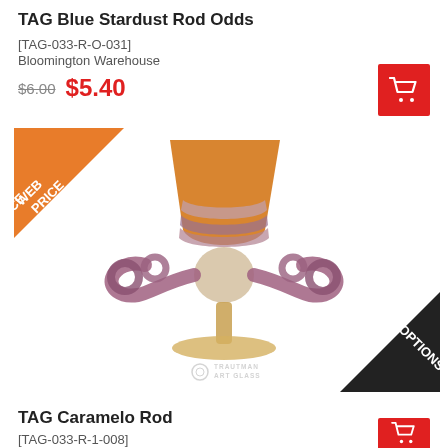TAG Blue Stardust Rod Odds
[TAG-033-R-O-031]
Bloomington Warehouse
$6.00 $5.40
[Figure (photo): Glass art piece - TAG Caramelo Rod, a decorative goblet-style art glass with orange/caramel top and purple/mauve banding, with decorative side handles on a pedestal base. WEB PRICE badge top-left, OPTIONS badge bottom-right. Trautman Art Glass watermark.]
TAG Caramelo Rod
[TAG-033-R-1-008]
Bloomington Warehouse
$7.98 $7.18